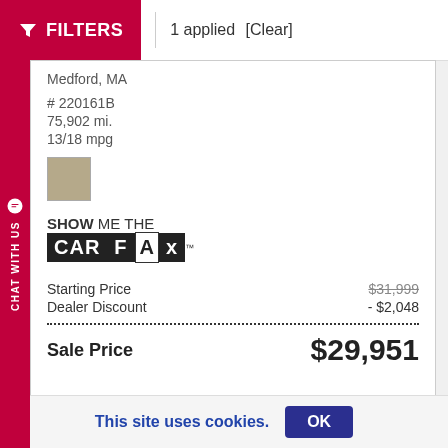FILTERS | 1 applied [Clear]
Medford, MA
# 220161B
75,902 mi.
13/18 mpg
[Figure (illustration): Tan/beige color swatch square]
[Figure (logo): SHOW ME THE CARFAX logo]
Starting Price $31,999
Dealer Discount - $2,048
Sale Price $29,951
This site uses cookies. OK